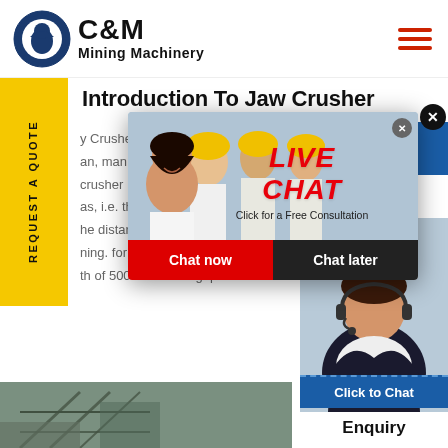[Figure (logo): C&M Mining Machinery logo with eagle gear emblem]
Introduction To Jaw Crusher
y Crusher Introduction. Jaw Crusher Pe 500X700 an, man asssection crusher as, i.e. th he distance between the jaws a ning. for example, 500x750mm th of 500 mm and a gape of 750
[Figure (screenshot): Live chat popup overlay with workers photo, LIVE CHAT title, Click for a Free Consultation text, Chat now and Chat later buttons]
[Figure (photo): Customer service agent with headset on right side panel with Hours Online and Click to Chat banners]
[Figure (photo): Bottom industrial/mining equipment photo]